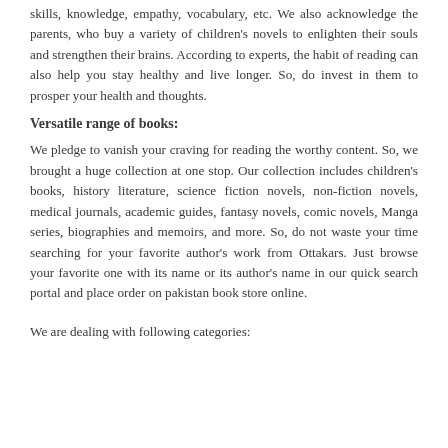skills, knowledge, empathy, vocabulary, etc. We also acknowledge the parents, who buy a variety of children's novels to enlighten their souls and strengthen their brains. According to experts, the habit of reading can also help you stay healthy and live longer. So, do invest in them to prosper your health and thoughts.
Versatile range of books:
We pledge to vanish your craving for reading the worthy content. So, we brought a huge collection at one stop. Our collection includes children's books, history literature, science fiction novels, non-fiction novels, medical journals, academic guides, fantasy novels, comic novels, Manga series, biographies and memoirs, and more. So, do not waste your time searching for your favorite author's work from Ottakars. Just browse your favorite one with its name or its author's name in our quick search portal and place order on pakistan book store online.
We are dealing with following categories: